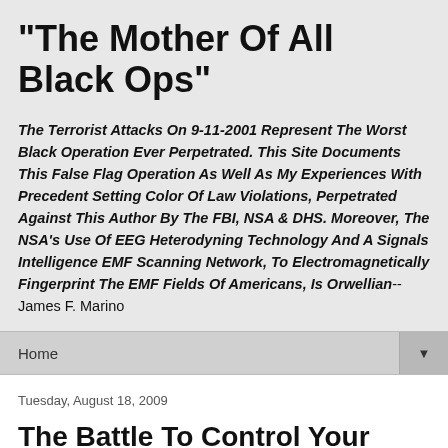"The Mother Of All Black Ops"
The Terrorist Attacks On 9-11-2001 Represent The Worst Black Operation Ever Perpetrated. This Site Documents This False Flag Operation As Well As My Experiences With Precedent Setting Color Of Law Violations, Perpetrated Against This Author By The FBI, NSA & DHS. Moreover, The NSA's Use Of EEG Heterodyning Technology And A Signals Intelligence EMF Scanning Network, To Electromagnetically Fingerprint The EMF Fields Of Americans, Is Orwellian-- James F. Marino
Home
Tuesday, August 18, 2009
The Battle To Control Your Mind Has Taken Many Forms - The Use Of The Electromagnetic Spectrum, Which